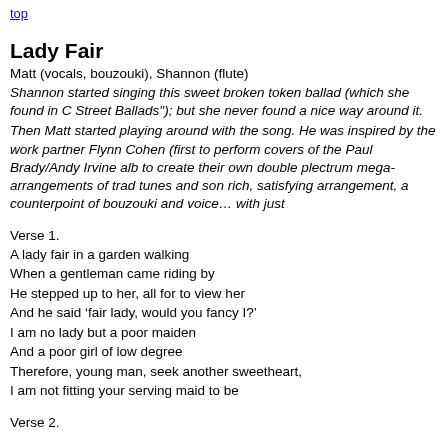top
Lady Fair
Matt (vocals, bouzouki), Shannon (flute)
Shannon started singing this sweet broken token ballad (which she found in C Street Ballads"); but she never found a nice way around it.
Then Matt started playing around with the song. He was inspired by the work partner Flynn Cohen (first to perform covers of the Paul Brady/Andy Irvine alb to create their own double plectrum mega-arrangements of trad tunes and son rich, satisfying arrangement, a counterpoint of bouzouki and voice… with just
Verse 1.
A lady fair in a garden walking
When a gentleman came riding by
He stepped up to her, all for to view her
And he said ‘fair lady, would you fancy I?’
I am no lady but a poor maiden
And a poor girl of low degree
Therefore, young man, seek another sweetheart,
I am not fitting your serving maid to be
Verse 2.